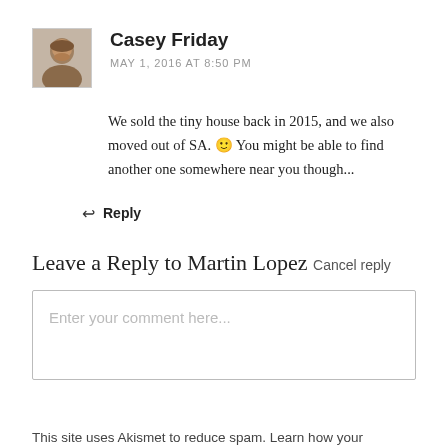[Figure (photo): Avatar photo of Casey Friday, a person with a beard]
Casey Friday
MAY 1, 2016 AT 8:50 PM
We sold the tiny house back in 2015, and we also moved out of SA. 🙂 You might be able to find another one somewhere near you though...
↩ Reply
Leave a Reply to Martin Lopez Cancel reply
Enter your comment here...
This site uses Akismet to reduce spam. Learn how your